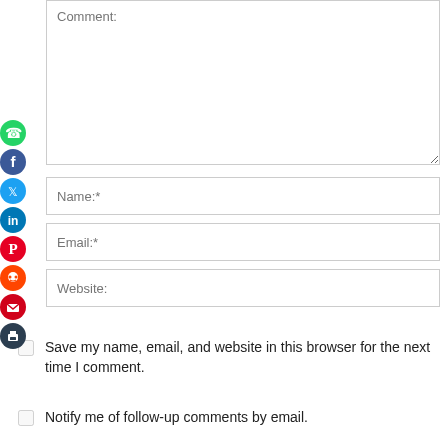Comment:
[Figure (infographic): Social media sharing icons in a vertical strip on the left side: WhatsApp (green circle), Facebook (blue circle), Twitter (blue bird circle), LinkedIn (blue square circle), Pinterest (red circle), Reddit (orange circle), Email (red envelope circle), Print (dark blue printer circle)]
Name:*
Email:*
Website:
Save my name, email, and website in this browser for the next time I comment.
Notify me of follow-up comments by email.